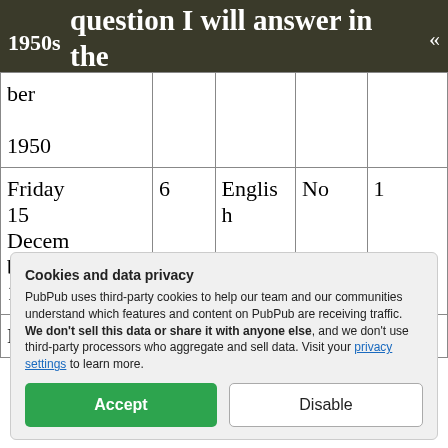question I will answer in the most explicit manner. My ex — 1950s
| ber
1950 |  |  |  |  |
| Friday 15 December 1950 | 6 | English | No | 1 |
| Monda | 4 | Englis | No | 1 |
Cookies and data privacy
PubPub uses third-party cookies to help our team and our communities understand which features and content on PubPub are receiving traffic. We don't sell this data or share it with anyone else, and we don't use third-party processors who aggregate and sell data. Visit your privacy settings to learn more.